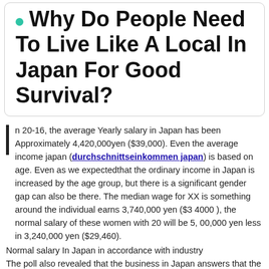Why Do People Need To Live Like A Local In Japan For Good Survival?
In 20-16, the average Yearly salary in Japan has been Approximately 4,420,000yen ($39,000). Even the average income japan (durchschnittseinkommen japan) is based on age. Even as we expectedthat the ordinary income in Japan is increased by the age group, but there is a significant gender gap can also be there. The median wage for XX is something around the individual earns 3,740,000 yen ($3 4000 ), the normal salary of these women with 20 will be 5, 00,000 yen less in 3,240,000 yen ($29,460).
Normal salary In Japan in accordance with industry
The poll also revealed that the business in Japan answers that the Highest average salary annually. There really are the top 6 sector recorded which includes got the highest wage of